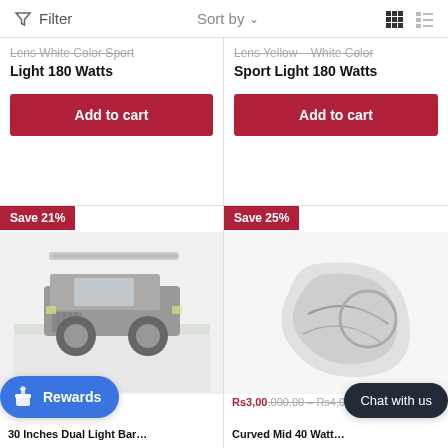Filter   Sort by   [grid] [list]
Lens White Color Sport Light 180 Watts
Add to cart
Lens Yellow – White Color Sport Light 180 Watts
Add to cart
Save 21%
[Figure (photo): Jeep vehicle with light bar mounted on roof, off-road setup]
Save 25%
[Figure (photo): Auto accessory product close-up]
Rs3,00,000.00 – Rs4,000.00
30 Inches Dual Light Bar…
Curved Mid 40 Watt…
Rewards
Chat with us